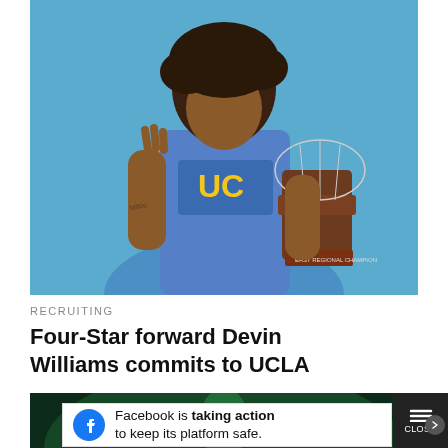[Figure (photo): Young man wearing UCLA blue jersey holding an NCAA East Regional Champion trophy against a blue background, with his hand raised showing three fingers]
RECRUITING
Four-Star forward Devin Williams commits to UCLA
[Figure (photo): Second article thumbnail showing a person against a dark green background]
Facebook is taking action to keep its platform safe.